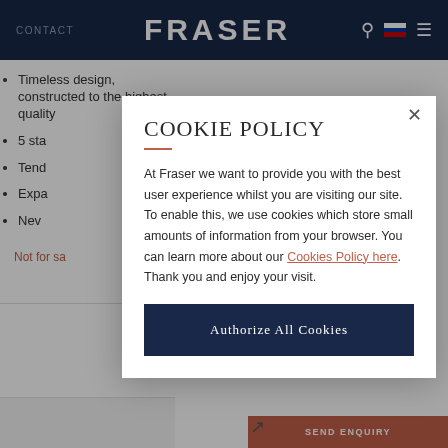CONTACT   FRASER
Timeless design, constructed to the highest quality
5 sta…
Tend…
Expa…
Nev…
Not for sa…
COOKIE POLICY
At Fraser we want to provide you with the best user experience whilst you are visiting our site. To enable this, we use cookies which store small amounts of information from your browser. You can learn more about our Cookies Policy here. Thank you and enjoy your visit.
Authorize All Cookies